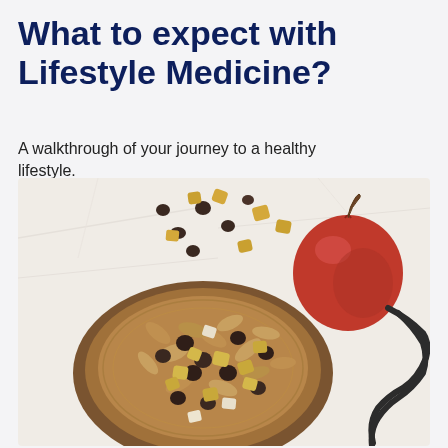What to expect with Lifestyle Medicine?
A walkthrough of your journey to a healthy lifestyle.
[Figure (photo): Overhead photo of a wooden bowl filled with mixed nuts and dried fruits including almonds, raisins, and candied ginger pieces, with a red apple and a stethoscope in the background on a white marble surface.]